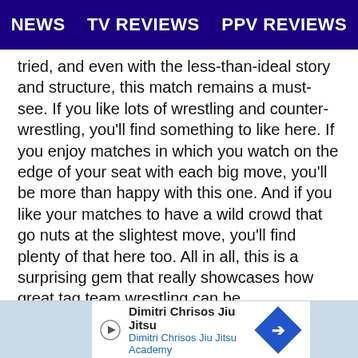NEWS   TV REVIEWS   PPV REVIEWS
tried, and even with the less-than-ideal story and structure, this match remains a must-see. If you like lots of wrestling and counter-wrestling, you'll find something to like here. If you enjoy matches in which you watch on the edge of your seat with each big move, you'll be more than happy with this one. And if you like your matches to have a wild crowd that go nuts at the slightest move, you'll find plenty of that here too. All in all, this is a surprising gem that really showcases how great tag team wrestling can be.

Check out previous entries in my 5 Star Match Reviews series right here. Thanks for reading.
[Figure (infographic): Advertisement banner for Dimitri Chrisos Jiu Jitsu Academy with play button icon and blue diamond arrow icon]